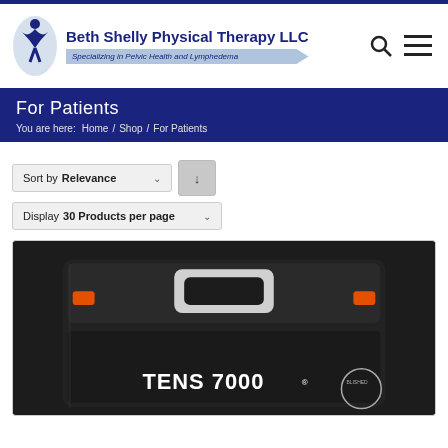[Figure (logo): Beth Shelly Physical Therapy LLC logo with figure icon and tagline 'Specializing in Pelvic Health and Lymphedema']
For Patients
You are here: Home / Shop / For Patients
Sort by Relevance
Display 30 Products per page
[Figure (photo): TENS 7000 device in a black hard case with orange clasps and white handle]